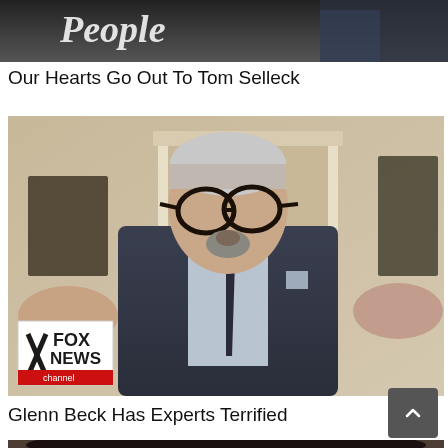[Figure (photo): Partial image at top showing a man in a suit, with 'People' magazine logo visible, cropped at top of page]
Our Hearts Go Out To Tom Selleck
[Figure (photo): Middle-aged man with white hair, beard, and dark-rimmed glasses wearing a suit and tie, seated, gesturing with hands, Fox News Channel logo visible in bottom-left corner]
Glenn Beck Has Experts Terrified
[Figure (photo): Partial image at bottom showing a woman's face, cropped, dark hair visible]